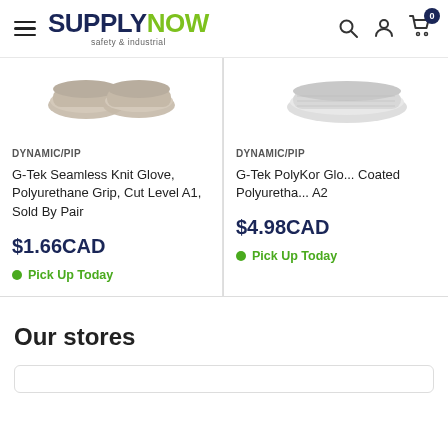SUPPLYNOW safety & industrial — navigation header with search, account, and cart icons
[Figure (photo): Product image: G-Tek Seamless Knit Gloves shown from above (left card)]
DYNAMIC/PIP
G-Tek Seamless Knit Glove, Polyurethane Grip, Cut Level A1, Sold By Pair
$1.66CAD
Pick Up Today
[Figure (photo): Product image: G-Tek PolyKor Glove shown from above (right card, partially cropped)]
DYNAMIC/PIP
G-Tek PolyKor Glo... Coated Polyuretha... A2
$4.98CAD
Pick Up Today
Our stores